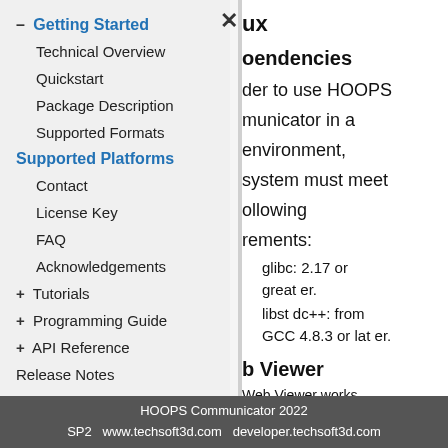– Getting Started
Technical Overview
Quickstart
Package Description
Supported Formats
Supported Platforms
Contact
License Key
FAQ
Acknowledgements
+ Tutorials
+ Programming Guide
+ API Reference
Release Notes
Public Roadmap
ux
oendencies
der to use HOOPS
municator in a
environment,
system must meet
ollowing
rements:
glibc: 2.17 or greater.
libstdc++: from GCC 4.8.3 or later.
b Viewer
Web Viewer works
HOOPS Communicator 2022
SP2   www.techsoft3d.com   developer.techsoft3d.com